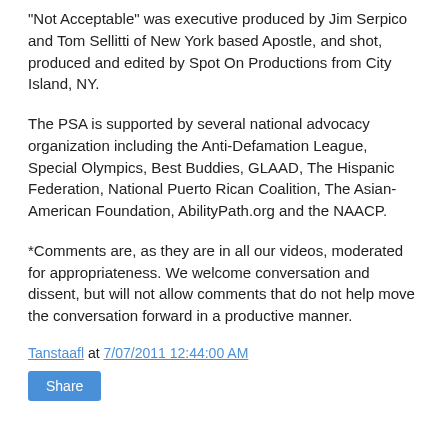"Not Acceptable" was executive produced by Jim Serpico and Tom Sellitti of New York based Apostle, and shot, produced and edited by Spot On Productions from City Island, NY.
The PSA is supported by several national advocacy organization including the Anti-Defamation League, Special Olympics, Best Buddies, GLAAD, The Hispanic Federation, National Puerto Rican Coalition, The Asian-American Foundation, AbilityPath.org and the NAACP.
*Comments are, as they are in all our videos, moderated for appropriateness. We welcome conversation and dissent, but will not allow comments that do not help move the conversation forward in a productive manner.
Tanstaafl at 7/07/2011 12:44:00 AM